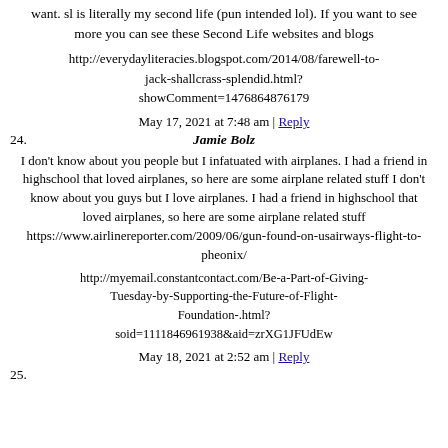want. sl is literally my second life (pun intended lol). If you want to see more you can see these Second Life websites and blogs
http://everydayliteracies.blogspot.com/2014/08/farewell-to-jack-shallcrass-splendid.html?showComment=1476864876179
May 17, 2021 at 7:48 am | Reply
24. Jamie Bolz
I don't know about you people but I infatuated with airplanes. I had a friend in highschool that loved airplanes, so here are some airplane related stuff I don't know about you guys but I love airplanes. I had a friend in highschool that loved airplanes, so here are some airplane related stuff https://www.airlinereporter.com/2009/06/gun-found-on-usairways-flight-to-pheonix/
http://myemail.constantcontact.com/Be-a-Part-of-Giving-Tuesday-by-Supporting-the-Future-of-Flight-Foundation-.html?soid=1111846961938&aid=zrXG1JFUdEw
May 18, 2021 at 2:52 am | Reply
25.